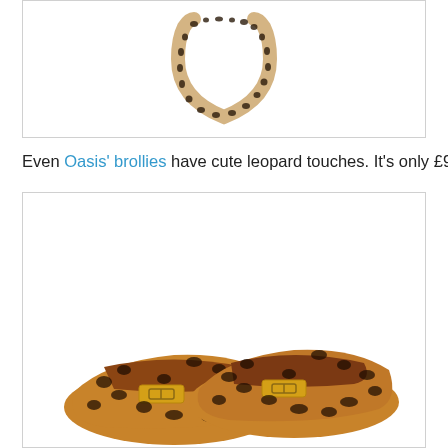[Figure (photo): Leopard print necklace/chain on white background inside a bordered box]
Even Oasis' brollies have cute leopard touches. It's only £9.
[Figure (photo): Pair of leopard print flat shoes with gold buckle detail on white background inside a bordered box]